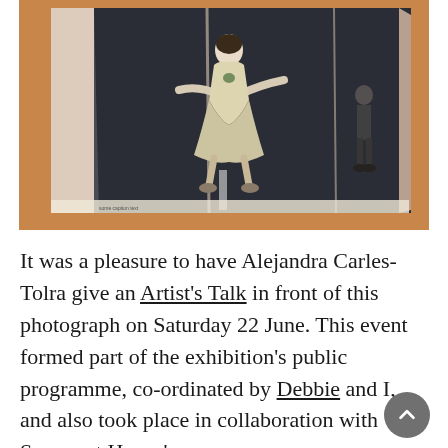[Figure (photo): A folded printed photograph/poster showing a person in a light-colored flowing costume with arms outstretched, appearing to jump or float above a dark surface (road/floor), with another figure visible in the background to the right. The image has visible fold lines and lies on a wooden surface.]
It was a pleasure to have Alejandra Carles-Tolra give an Artist's Talk in front of this photograph on Saturday 22 June. This event formed part of the exhibition's public programme, co-ordinated by Debbie and I, and also took place in collaboration with Somerset House's